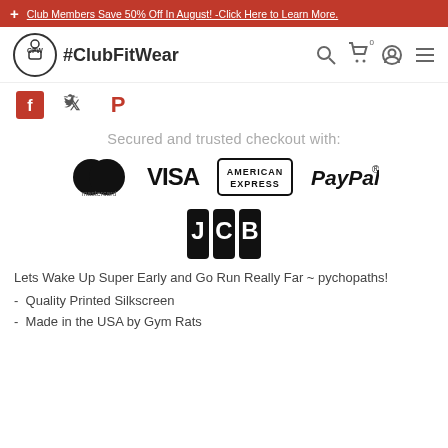Club Members Save 50% Off In August! -Click Here to Learn More.
[Figure (logo): ClubFitWear logo with kettlebell icon and #ClubFitWear text, plus navigation icons]
[Figure (logo): Social share icons: Facebook, Twitter, Pinterest]
Secured and trusted checkout with:
[Figure (logo): Payment logos: Mastercard, VISA, American Express, PayPal, JCB]
Lets Wake Up Super Early and Go Run Really Far ~ pychopaths!
Quality Printed Silkscreen
Made in the USA by Gym Rats